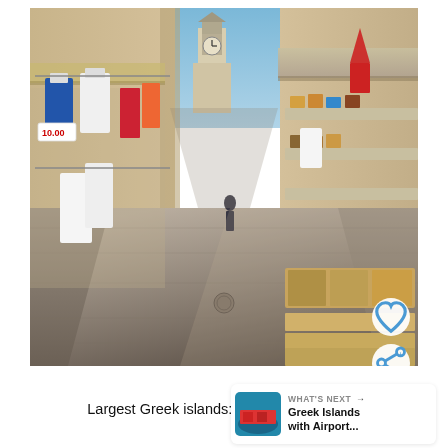[Figure (photo): Street scene in Corfu (Kerkyra), Greece. A narrow pedestrian shopping street lined with clothes shops on the left (mannequins displaying white and blue Greek-style dresses, price tag showing 10.00) and souvenir/gift shops on the right with awnings. Tiled stone pavement, a clock tower visible in the background, blue sky. A person in dark clothing visible mid-distance.]
Largest Greek islands: Corfu (Kerkyra...